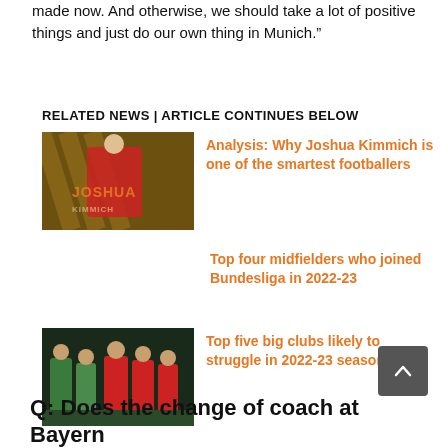made now. And otherwise, we should take a lot of positive things and just do our own thing in Munich.”
RELATED NEWS | ARTICLE CONTINUES BELOW
[Figure (photo): Photo of Joshua Kimmich in Bayern Munich red jersey with JOSHUA text overlay on gold background]
Analysis: Why Joshua Kimmich is one of the smartest footballers
Top four midfielders who joined Bundesliga in 2022-23
[Figure (photo): Photo of football players in red and green kits on a pitch]
Top five big clubs likely to struggle in 2022-23 season
Q: Does the change of coach at Bayern